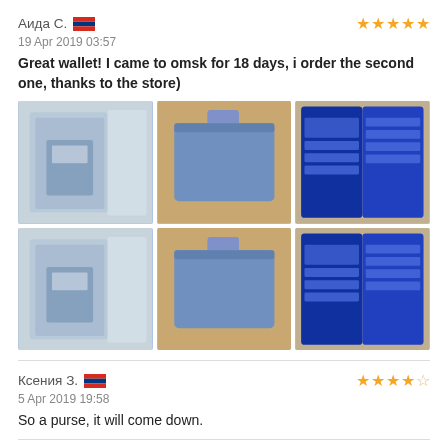Аида С. 🇷🇺
19 Apr 2019 03:57
Great wallet! I came to omsk for 18 days, i order the second one, thanks to the store)
[Figure (photo): Six product photos of a blue wallet in two rows of three: packaged wallet, closed wallet, open wallet]
Ксения З. 🇷🇺
5 Apr 2019 19:58
So a purse, it will come down.
Alice A. 🇧🇷
1 Apr 2019 13:48